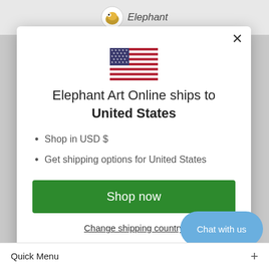[Figure (screenshot): Modal popup on Elephant Art Online website showing US flag, shipping info, and shop now button]
Elephant Art Online ships to United States
Shop in USD $
Get shipping options for United States
Shop now
Change shipping country
Chat with us
Quick Menu